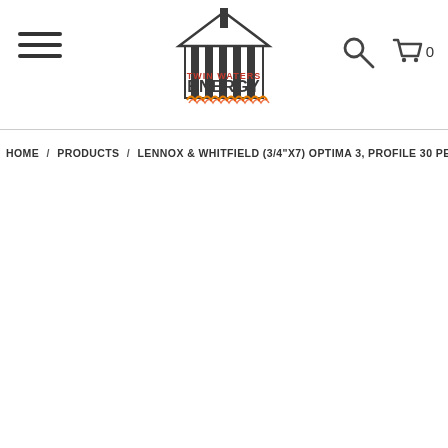[Figure (logo): Twin Waters Energy logo: house/building with vertical stripes, text TWIN WATERS above ENERGY with flame decoration at bottom]
[Figure (other): Hamburger menu icon (three horizontal lines)]
[Figure (other): Search magnifying glass icon]
[Figure (other): Shopping cart icon with count 0]
HOME / PRODUCTS / LENNOX & WHITFIELD (3/4"X7) OPTIMA 3, PROFILE 30 PELLET STOVE DOOR GASKET